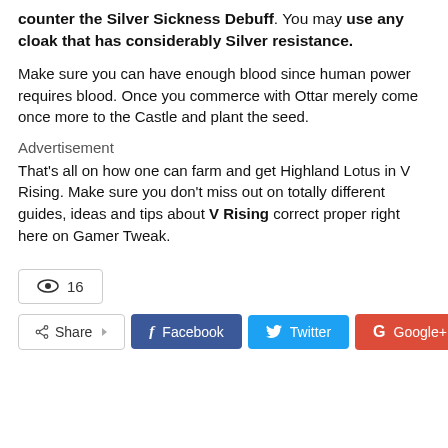counter the Silver Sickness Debuff. You may use any cloak that has considerably Silver resistance.
Make sure you can have enough blood since human power requires blood. Once you commerce with Ottar merely come once more to the Castle and plant the seed.
Advertisement
That's all on how one can farm and get Highland Lotus in V Rising. Make sure you don't miss out on totally different guides, ideas and tips about V Rising correct proper right here on Gamer Tweak.
[Figure (infographic): View count box showing eye icon and number 16, followed by a social share row with Share button, Facebook button, Twitter button, and Google+ button]